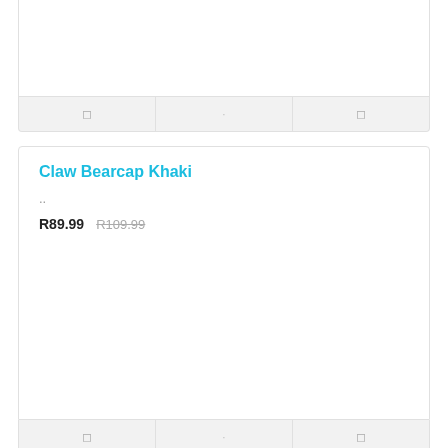[Figure (other): Top portion of a previous product card (partially visible), showing action buttons at the bottom with icon placeholders]
Claw Bearcap Khaki
..
R89.99  R109.99
[Figure (other): Product image area for Claw Bearcap Khaki (empty/white)]
[Figure (other): Action buttons row for Claw Bearcap Khaki card with three icon buttons]
Claw Bearcap Navy